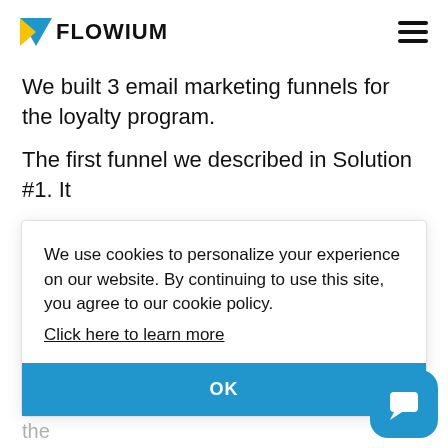FLOWIUM
We built 3 email marketing funnels for the loyalty program.
The first funnel we described in Solution #1. It
We use cookies to personalize your experience on our website. By continuing to use this site, you agree to our cookie policy.
Click here to learn more
OK
weren't joining. This way we could improve the